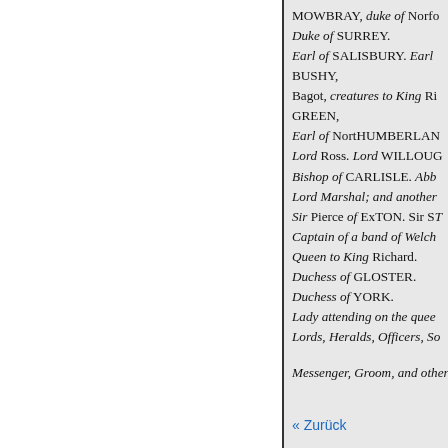MOWBRAY, duke of Norfo[lk]. Duke of SURREY. Earl of SALISBURY. Earl [of Worcester]. BUSHY, Bagot, creatures to King Ri[chard]. GREEN, Earl of NortHUMBERLAN[D]. Lord Ross. Lord WILLOUG[hby]. Bishop of CARLISLE. Abb[ot of Westminster]. Lord Marshal; and another [Lord]. Sir Pierce of ExTON. Sir ST[ephen Scroop]. Captain of a band of Welch[men]. Queen to King Richard. Duchess of GLOSTER. Duchess of YORK. Lady attending on the quee[n]. Lords, Heralds, Officers, So[ldiers,]
Messenger, Groom, and other [Attendants.]
« Zurück